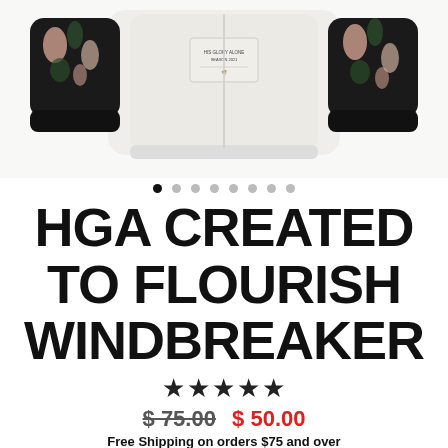[Figure (photo): White windbreaker jacket with black floral-patterned sleeves and black cuffs, displayed flat against white background, cropped view showing torso and sleeves]
[Figure (infographic): Image carousel dots indicator: 8 dots, first dot filled black (active), remaining dots gray (inactive)]
HGA CREATED TO FLOURISH WINDBREAKER
[Figure (infographic): Five filled black star rating icons]
$75.00  $50.00
Free Shipping on orders $75 and over
MENU
Buy with shop pay  Learn more